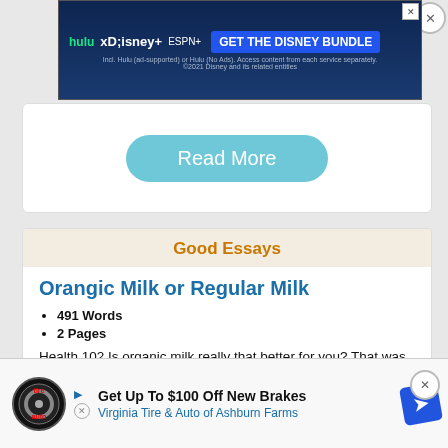[Figure (screenshot): Hulu Disney+ ESPN+ GET THE DISNEY BUNDLE advertisement banner with dark blue background]
Read More
Good Essays
Orangic Milk or Regular Milk
491 Words
2 Pages
Health 102 Is organic milk really that better for you? That was what I was thinking when we were discussing that in health class. Coach Deyo gave good ideas, but I still had my doubts. Because people have been drinking regular milk a... t get enough... anic milk is better for you. I was looking at a website called
[Figure (screenshot): Get Up To $100 Off New Brakes - Virginia Tire & Auto of Ashburn Farms advertisement]